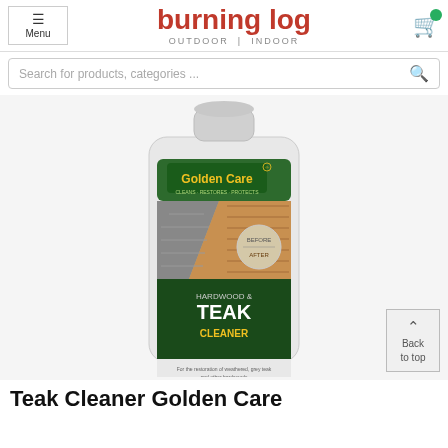Menu | burning log OUTDOOR | INDOOR
Search for products, categories ...
[Figure (photo): A bottle of Golden Care Hardwood & Teak Cleaner product with green label showing before/after comparison of weathered and restored teak decking]
Teak Cleaner Golden Care